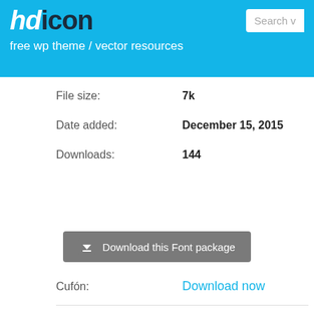hdicon — free wp theme / vector resources
File size: 7k
Date added: December 15, 2015
Downloads: 144
Download this Font package
Cufón: Download now
How to install this font?